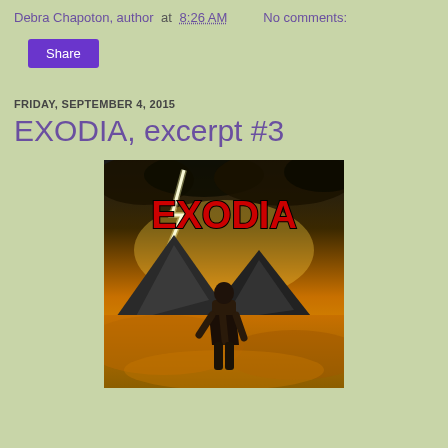Debra Chapoton, author at 8:26 AM   No comments:
Share
FRIDAY, SEPTEMBER 4, 2015
EXODIA, excerpt #3
[Figure (illustration): Book cover for EXODIA showing a person standing in a desert landscape with mountains and a dramatic lightning strike against a golden/dark sky, with the title EXODIA in large red letters]